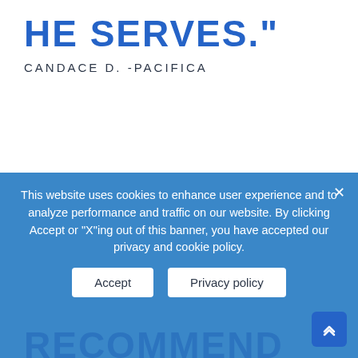HE SERVES."
CANDACE D. -PACIFICA
[Figure (other): Five green stars rating (4.5 or 5 stars)]
"I HIGHLY
This website uses cookies to enhance user experience and to analyze performance and traffic on our website. By clicking Accept or "X"ing out of this banner, you have accepted our privacy and cookie policy.
Accept   Privacy policy